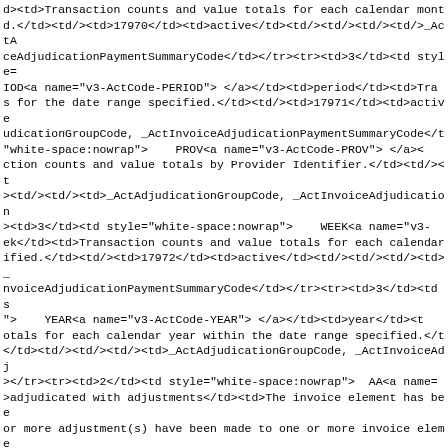d><td>Transaction counts and value totals for each calendar month d.</td><td/><td>17970</td><td>active</td><td/><td/><td/><td/>_ActAceAdjudicationPaymentSummaryCode</td></tr><tr><td>3</td><td styleIOD<a name="v3-ActCode-PERIOD"> </a></td><td>period</td><td>Tras for the date range specified.</td><td/><td>17971</td><td>activeudicationGroupCode, _ActInvoiceAdjudicationPaymentSummaryCode</t"white-space:nowrap">    PROV<a name="v3-ActCode-PROV"> </a>ction counts and value totals by Provider Identifier.</td><td/><t><td/><td/><td>_ActAdjudicationGroupCode, _ActInvoiceAdjudication><td>3</td><td style="white-space:nowrap">    WEEK<a name="v3-ek</td><td>Transaction counts and value totals for each calendarified.</td><td/><td>17972</td><td>active</td><td/><td/><td/><td>_nvoiceAdjudicationPaymentSummaryCode</td></tr><tr><td>3</td><td s">    YEAR<a name="v3-ActCode-YEAR"> </a></td><td>year</td><totals for each calendar year within the date range specified.</t</td><td/><td/><td/><td>_ActAdjudicationGroupCode, _ActInvoiceAdj></tr><tr><td>2</td><td style="white-space:nowrap">  AA<a name=>adjudicated with adjustments</td><td>The invoice element has beenor more adjustment(s) have been made to one or more invoice elemes).

Also includes the concept 'Adjudicate as zero' and ite ar Policy.

Invoice element can be reversed (nullified).
element is saved for DUR (Drug Utilization Reporting).</td><td/>d/><td/><td/><td>_ActAdjudicationCode</td></tr><tr><td>3</td><td">    ANF<a name="v3-ActCode-ANF"> </a></td><td>adjudicated wiimpact</td><td>The invoice element has been accepted for payment ave been made to one or more invoice element line items (componeneamount.

Invoice element can be reversed (nullified).
rement is saved for DUR (Drug Utilization Reporting).</td><td/><t<td/><td/><td>AA</td></tr><tr><td>2</td><td style="white-space: